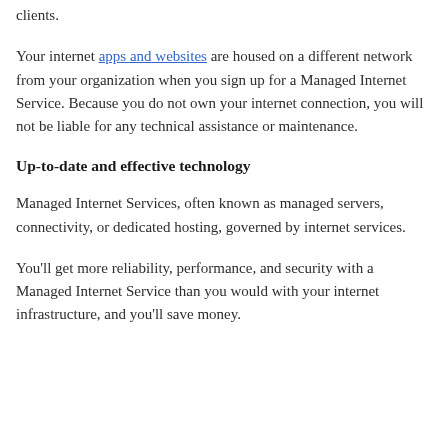clients.
Your internet apps and websites are housed on a different network from your organization when you sign up for a Managed Internet Service. Because you do not own your internet connection, you will not be liable for any technical assistance or maintenance.
Up-to-date and effective technology
Managed Internet Services, often known as managed servers, connectivity, or dedicated hosting, governed by internet services.
You'll get more reliability, performance, and security with a Managed Internet Service than you would with your internet infrastructure, and you'll save money.